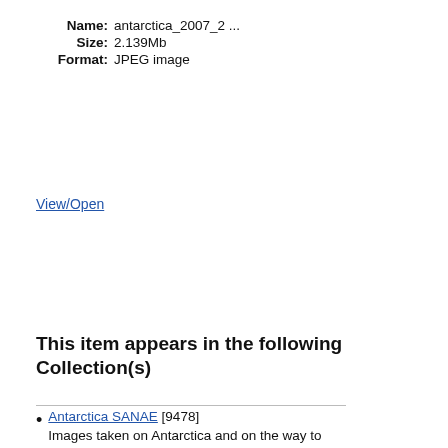Name: antarctica_2007_2 ...
Size: 2.139Mb
Format: JPEG image
View/Open
This item appears in the following Collection(s)
Antarctica SANAE [9478] Images taken on Antarctica and on the way to and from Antarctica